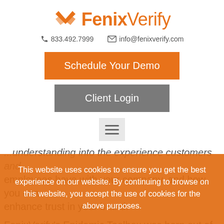[Figure (logo): FenixVerify logo with orange bird/checkmark icon and orange text reading FenixVerify]
833.492.7999   info@fenixverify.com
Schedule Your Demo
Client Login
[Figure (other): Hamburger menu icon (three horizontal lines) in a light gray box]
...understanding into the experience customers and employees have with your company, and how you can enhance trust in your brand.
FenixVerify's Epidemic Toolbox was born out of crisis, and our mission is to help your business in its day-to-day fu... No matter what your business is trying to measure,
This website uses cookies to ensure you get the best experience on our website. By continuing to browse on this website, you accept the use of cookies for the above purposes.